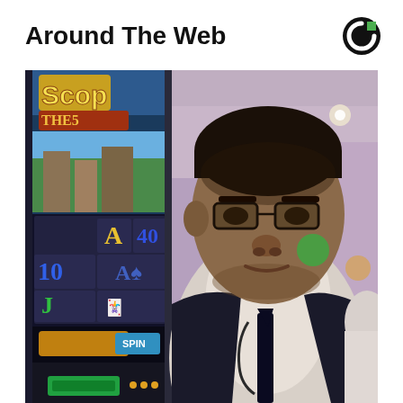Around The Web
[Figure (photo): A man wearing glasses, a white shirt, and a dark tie with a lanyard, standing in a casino next to slot machines. The slot machines show colorful game screens with letters A, 10, J and game titles visible. The background shows a casino floor with lights.]